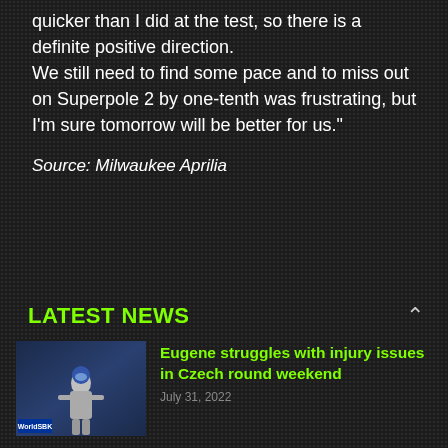quicker than I did at the test, so there is a definite positive direction.
We still need to find some pace and to miss out on Superpole 2 by one-tenth was frustrating, but I'm sure tomorrow will be better for us."
Source: Milwaukee Aprilia
LATEST NEWS
[Figure (photo): Motorcycle racer in racing gear, thumbnail image for news article]
Eugene struggles with injury issues in Czech round weekend
July 31, 2022